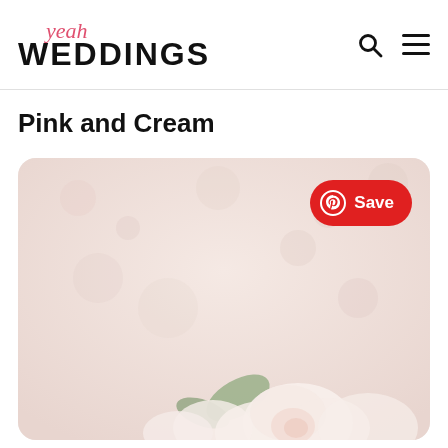yeah WEDDINGS
Pink and Cream
[Figure (photo): A romantic floral photo showing pink and cream roses against a soft blush background, displayed in a card with rounded corners. A red Pinterest Save button appears in the top right corner of the image.]